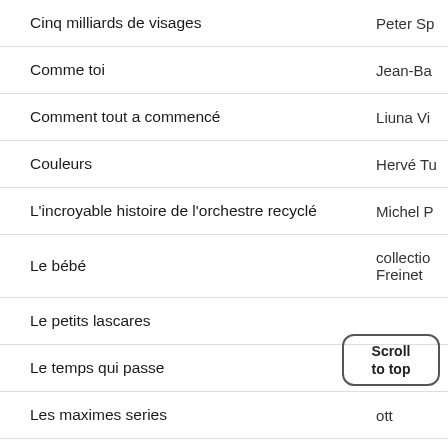| Title | Author |
| --- | --- |
| Cinq milliards de visages | Peter Sp |
| Comme toi | Jean-Ba |
| Comment tout a commencé | Liuna Vi |
| Couleurs | Hervé Tu |
| L'incroyable histoire de l'orchestre recyclé | Michel P |
| Le bébé | collection Freinet |
| Le petits lascares |  |
| Le temps qui passe |  |
| Les maximes series | ott |